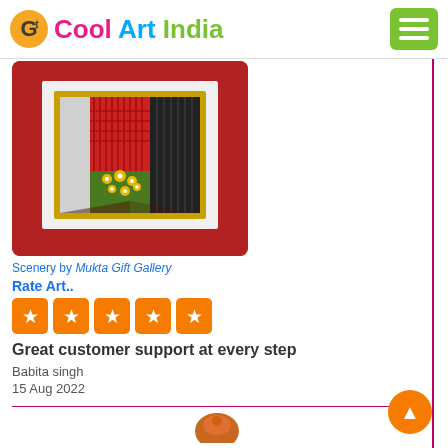Cool Art India
[Figure (photo): Framed artwork - Scenery with red background and golden floral decorations, displayed in a gold frame on a red mat board]
Scenery by Mukta Gift Gallery
Rate Art..
[Figure (other): Five orange star rating buttons]
Great customer support at every step
Babita singh
15 Aug 2022
[Figure (photo): Partially visible product thumbnail at bottom of page]